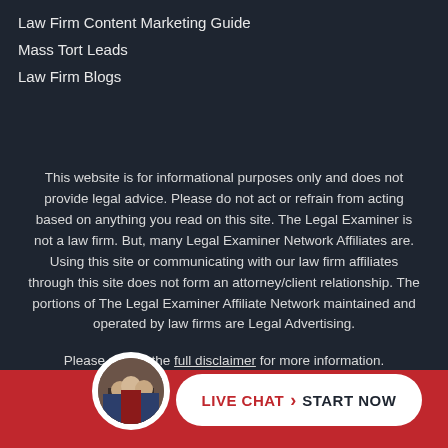Law Firm Content Marketing Guide
Mass Tort Leads
Law Firm Blogs
This website is for informational purposes only and does not provide legal advice. Please do not act or refrain from acting based on anything you read on this site. The Legal Examiner is not a law firm. But, many Legal Examiner Network Affiliates are. Using this site or communicating with our law firm affiliates through this site does not form an attorney/client relationship. The portions of The Legal Examiner Affiliate Network maintained and operated by law firms are Legal Advertising.
Please review the full disclaimer for more information.
[Figure (photo): Circular avatar photo of law firm representatives in suits]
LIVE CHAT > START NOW